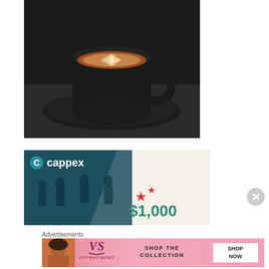[Figure (photo): A black ceramic cup of cappuccino or latte with latte art (leaf/rosette pattern) in cream-colored foam, sitting on a black saucer on a dark surface.]
[Figure (other): Cappex advertisement banner with teal/dark background showing students walking on a campus, with 'C cappex' logo in white and '$1,000' text with red stars on a light beige diagonal half.]
Advertisements
[Figure (other): Victoria's Secret advertisement banner with pink gradient background, VS logo, text 'SHOP THE COLLECTION' and a 'SHOP NOW' white button, with a woman's photo on the left.]